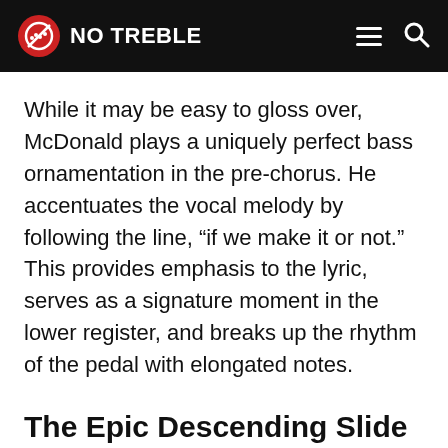NO TREBLE
While it may be easy to gloss over, McDonald plays a uniquely perfect bass ornamentation in the pre-chorus. He accentuates the vocal melody by following the line, “if we make it or not.” This provides emphasis to the lyric, serves as a signature moment in the lower register, and breaks up the rhythm of the pedal with elongated notes.
The Epic Descending Slide (Signaling the Chorus)
Trying to set up the ultimate musical moment in a rock song? Play a descending slide into the first